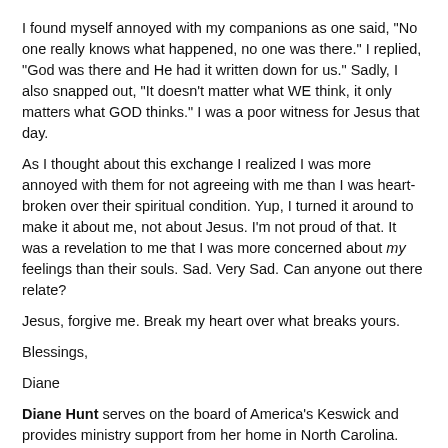I found myself annoyed with my companions as one said, "No one really knows what happened, no one was there."  I replied, "God was there and He had it written down for us."  Sadly, I also snapped out, "It doesn't matter what WE think, it only matters what GOD thinks." I was a poor witness for Jesus that day.
As I thought about this exchange I realized I was more annoyed with them for not agreeing with me than I was heart-broken over their spiritual condition.  Yup, I turned it around to make it about me, not about Jesus.  I'm not proud of that. It was a revelation to me that I was more concerned about my feelings than their souls. Sad. Very Sad.  Can anyone out there relate?
Jesus, forgive me.  Break my heart over what breaks yours.
Blessings,
Diane
Diane Hunt serves on the board of America's Keswick and provides ministry support from her home in North Carolina. She is also a biblical counselor and women's event speaker. For more information about having Diane speak at your next event please contact her at dhunt@americaskeswick.org.